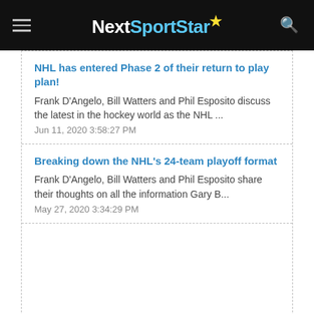NextSportStar
NHL has entered Phase 2 of their return to play plan!
Frank D'Angelo, Bill Watters and Phil Esposito discuss the latest in the hockey world as the NHL ...
Jun 11, 2020 3:58:27 PM
Breaking down the NHL's 24-team playoff format
Frank D'Angelo, Bill Watters and Phil Esposito share their thoughts on all the information Gary B...
May 27, 2020 3:34:29 PM
RECENT POSTS
Juan Mata becomes latest Manchester United player to leave club in June